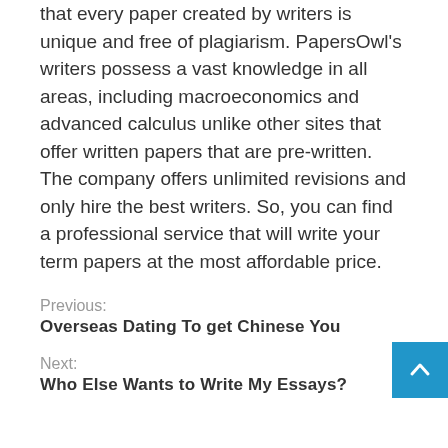that every paper created by writers is unique and free of plagiarism. PapersOwl's writers possess a vast knowledge in all areas, including macroeconomics and advanced calculus unlike other sites that offer written papers that are pre-written. The company offers unlimited revisions and only hire the best writers. So, you can find a professional service that will write your term papers at the most affordable price.
Previous: Overseas Dating To get Chinese You
Next: Who Else Wants to Write My Essays?